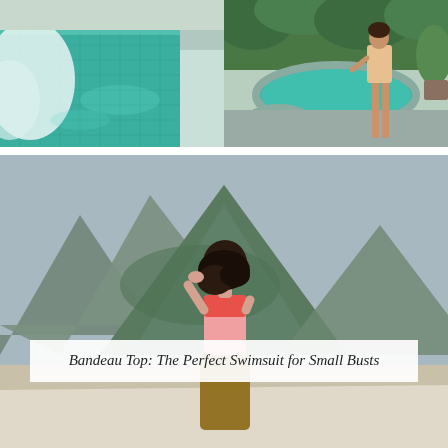[Figure (photo): Turquoise tiled pool with abstract curved shapes and tropical plants in the background]
[Figure (photo): Woman standing beside a round turquoise pool surrounded by tropical garden]
[Figure (photo): Woman in pink bikini bandeau top viewed from behind, standing in front of dramatic green mountain landscape with sandy beach below]
Bandeau Top: The Perfect Swimsuit for Small Busts